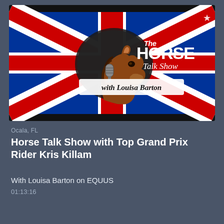[Figure (illustration): The Horse Talk Show with Louisa Barton podcast thumbnail. A cartoon horse head with a microphone is centered over a Union Jack (UK flag) background in red, white, and blue. Text reads 'The HORSE Talk Show with Louisa Barton' in stylized lettering. A star icon appears in the top right corner.]
Ocala, FL
Horse Talk Show with Top Grand Prix Rider Kris Killam
With Louisa Barton on EQUUS
01:13:16